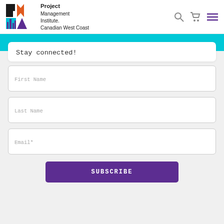[Figure (logo): PMI Canadian West Coast chapter logo with stylized P, arrow, mountain and city skyline icons in orange, cyan, and purple]
Project Management Institute. Canadian West Coast
[Figure (other): Header icons: search magnifying glass, shopping cart, hamburger menu]
Stay connected!
First Name
Last Name
Email*
SUBSCRIBE